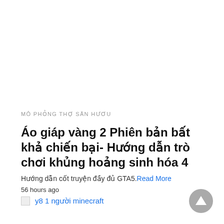MÔ PHỎNG THỢ SĂN HƯƠU
Áo giáp vàng 2 Phiên bản bất khả chiến bại- Hướng dẫn trò chơi khủng hoảng sinh hóa 4
Hướng dẫn cốt truyện đầy đủ GTA5. Read More
56 hours ago
y8 1 người minecraft